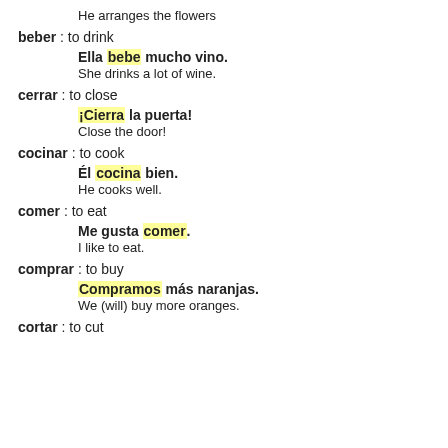He arranges the flowers
beber : to drink
Ella bebe mucho vino.
She drinks a lot of wine.
cerrar : to close
¡Cierra la puerta!
Close the door!
cocinar : to cook
Él cocina bien.
He cooks well.
comer : to eat
Me gusta comer.
I like to eat.
comprar : to buy
Compramos más naranjas.
We (will) buy more oranges.
cortar : to cut